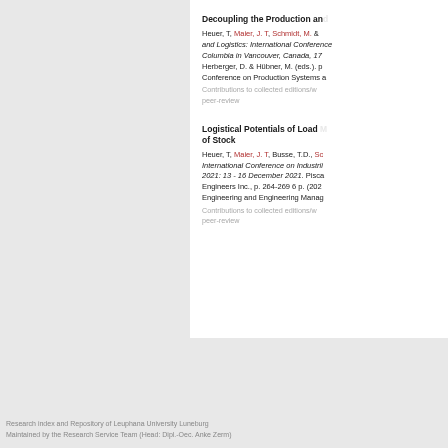Decoupling the Production and...
Heuer, T, Maier, J. T, Schmidt, M. & ... and Logistics: International Conference... Columbia in Vancouver, Canada, 17... Herberger, D. & Hübner, M. (eds.). p... Conference on Production Systems a...
Contributions to collected editions/w... peer-review
Logistical Potentials of Load ... of Stock
Heuer, T, Maier, J. T, Busse, T.D., Sc... International Conference on Industri... 2021: 13 - 16 December 2021. Pisca... Engineers Inc., p. 264-269 6 p. (202... Engineering and Engineering Manag...
Contributions to collected editions/w... peer-review
Research index and Repository of Leuphana University Luneburg
Maintained by the Research Service Team (Head: Dipl.-Oec. Anke Zerm)